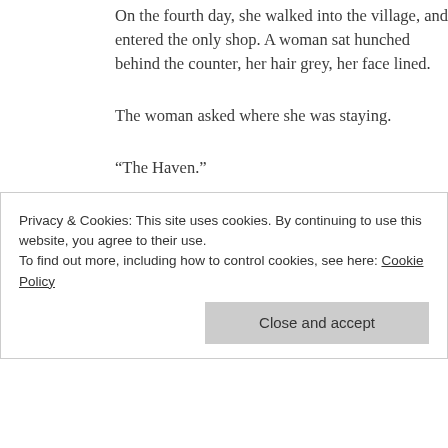On the fourth day, she walked into the village, and entered the only shop. A woman sat hunched behind the counter, her hair grey, her face lined.
The woman asked where she was staying.
“The Haven.”
“With Tom?”
She nodded.
“His niece, you’d be, then. Beth’s daughter. Grandniece, even.”
Privacy & Cookies: This site uses cookies. By continuing to use this website, you agree to their use. To find out more, including how to control cookies, see here: Cookie Policy
we were only children then. It was a lifetime ago. But